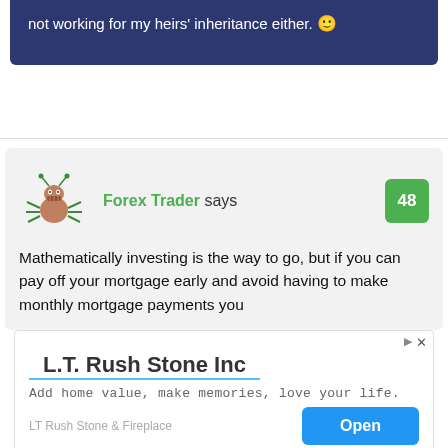not working for my heirs' inheritance either. 🙂
Forex Trader says
[Figure (illustration): Cartoon ant/bug avatar icon in green]
48
Mathematically investing is the way to go, but if you can pay off your mortgage early and avoid having to make monthly mortgage payments you
[Figure (other): Advertisement banner for L.T. Rush Stone Inc with tagline 'Add home value, make memories, love your life.' and Open button]